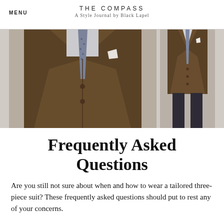MENU  THE COMPASS  A Style Journal by Black Lapel
[Figure (photo): Two photos of a man wearing a brown three-piece tailored suit. The left photo is a close-up torso shot showing the brown suit jacket, waistcoat, white pocket square, and patterned tie. The right photo shows a full-length view of the same suit.]
Frequently Asked Questions
Are you still not sure about when and how to wear a tailored three-piece suit? These frequently asked questions should put to rest any of your concerns.